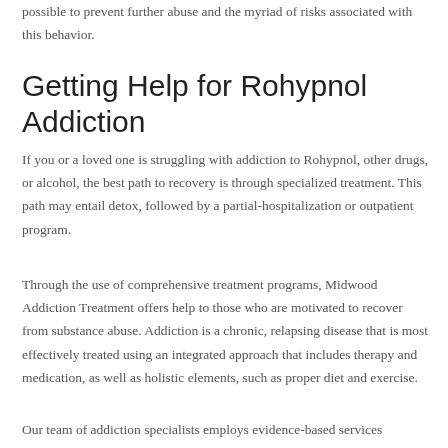possible to prevent further abuse and the myriad of risks associated with this behavior.
Getting Help for Rohypnol Addiction
If you or a loved one is struggling with addiction to Rohypnol, other drugs, or alcohol, the best path to recovery is through specialized treatment. This path may entail detox, followed by a partial-hospitalization or outpatient program.
Through the use of comprehensive treatment programs, Midwood Addiction Treatment offers help to those who are motivated to recover from substance abuse. Addiction is a chronic, relapsing disease that is most effectively treated using an integrated approach that includes therapy and medication, as well as holistic elements, such as proper diet and exercise.
Our team of addiction specialists employs evidence-based services